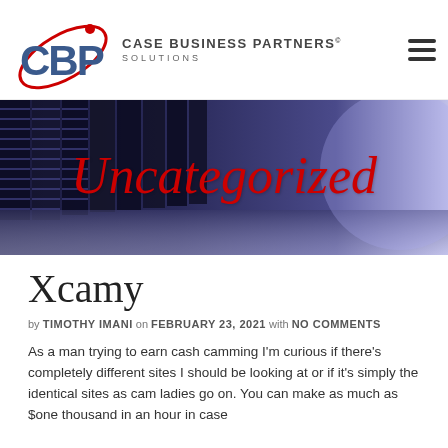Case Business Partners Solutions
[Figure (photo): Server rack room with blue lighting, used as hero banner background with 'Uncategorized' text overlay in red italic]
Xcamy
by TIMOTHY IMANI on FEBRUARY 23, 2021 with NO COMMENTS
As a man trying to earn cash camming I'm curious if there's completely different sites I should be looking at or if it's simply the identical sites as cam ladies go on. You can make as much as $one thousand in an hour in case